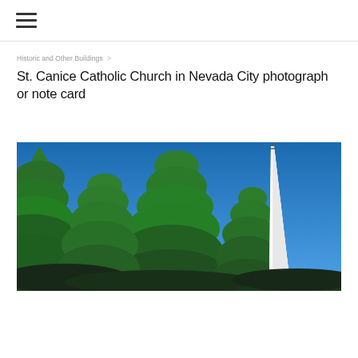≡ (hamburger menu icon)
Historic and Other Buildings  >
St. Canice Catholic Church in Nevada City photograph or note card
[Figure (photo): Photograph of St. Canice Catholic Church in Nevada City, showing tall green conifer trees against a bright blue sky, with a white church steeple/spire visible on the right side of the image.]